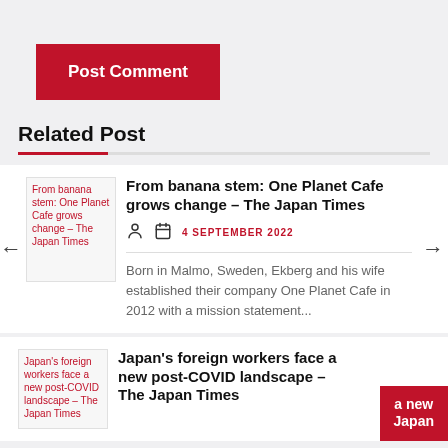[Figure (other): Red 'Post Comment' button]
Related Post
[Figure (other): Thumbnail image placeholder for 'From banana stem: One Planet Cafe grows change – The Japan Times']
From banana stem: One Planet Cafe grows change – The Japan Times
4 SEPTEMBER 2022
Born in Malmo, Sweden, Ekberg and his wife established their company One Planet Cafe in 2012 with a mission statement...
[Figure (other): Thumbnail image placeholder for 'Japan's foreign workers face a new post-COVID landscape – The Japan Times']
Japan's foreign workers face a new post-COVID landscape – The Japan Times